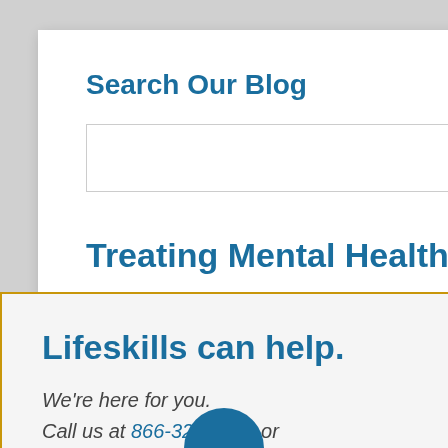Search Our Blog
[Figure (screenshot): Search input box with a teal/blue search button containing a magnifying glass icon]
Treating Mental Health and Active Addictions
Lifeskills can help.
We're here for you. Call us at 866-321-9430 or email us today